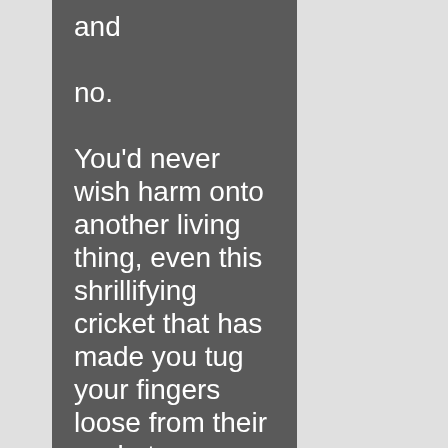and

no.

You'd never wish harm onto another living thing, even this shrillifying cricket that has made you tug your fingers loose from their sockets,